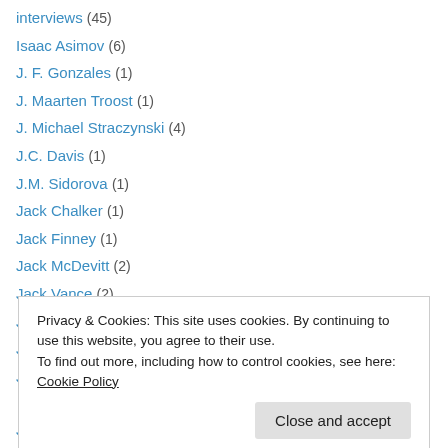interviews (45)
Isaac Asimov (6)
J. F. Gonzales (1)
J. Maarten Troost (1)
J. Michael Straczynski (4)
J.C. Davis (1)
J.M. Sidorova (1)
Jack Chalker (1)
Jack Finney (1)
Jack McDevitt (2)
Jack Vance (2)
Jacqueline Carey (1)
James Blish (1)
Privacy & Cookies: This site uses cookies. By continuing to use this website, you agree to their use. To find out more, including how to control cookies, see here: Cookie Policy
Jamie Lackey (2)